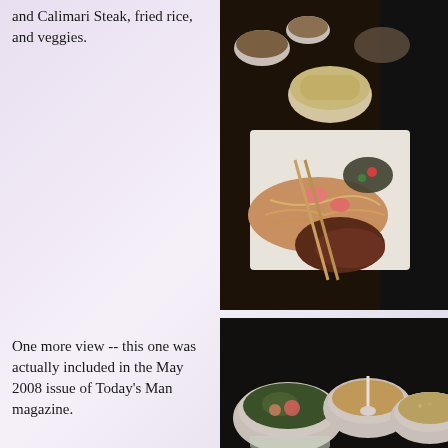and Calimari Steak, fried rice, and veggies.
[Figure (photo): Overhead view of Asian food spread on a dark table: bowls of fried rice and side dishes, a large white plate with noodles, shrimp, meat and chopsticks]
One more view -- this one was actually included in the May 2008 issue of Today's Man magazine.
[Figure (photo): Bowl of Asian food with soup/sauce cups and a bowl of fried rice on a dark granite surface]